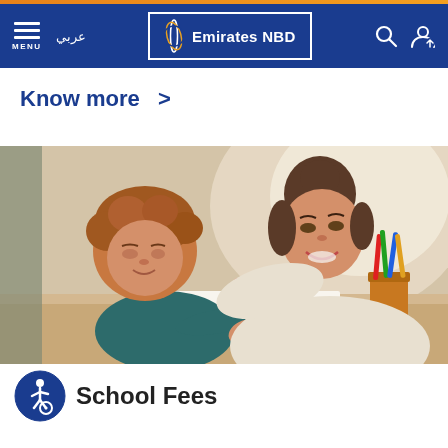Emirates NBD — Navigation bar with MENU, عربي, Emirates NBD logo, search and profile icons
Know more >
[Figure (photo): A woman and a young child sitting together, the child drawing or writing with a red pencil on paper, colorful pencils visible in a cup to the right. Warm indoor setting.]
School Fees